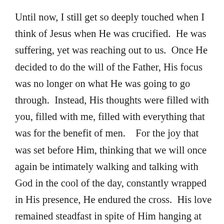Until now, I still get so deeply touched when I think of Jesus when He was crucified.  He was suffering, yet was reaching out to us.  Once He decided to do the will of the Father, His focus was no longer on what He was going to go through.  Instead, His thoughts were filled with you, filled with me, filled with everything that was for the benefit of men.    For the joy that was set before Him, thinking that we will once again be intimately walking and talking with God in the cool of the day, constantly wrapped in His presence, He endured the cross.  His love remained steadfast in spite of Him hanging at the cross, pierced, mocked and ridiculed by those around Him. So great is His love that He still uttered, “Father, forgive them, for they do not know